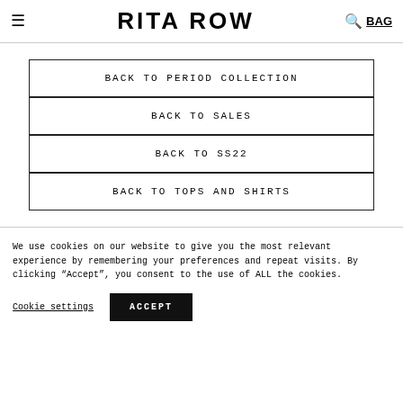≡  RITA ROW  🔍 BAG
BACK TO PERIOD COLLECTION
BACK TO SALES
BACK TO SS22
BACK TO TOPS AND SHIRTS
We use cookies on our website to give you the most relevant experience by remembering your preferences and repeat visits. By clicking "Accept", you consent to the use of ALL the cookies.
Cookie settings   ACCEPT